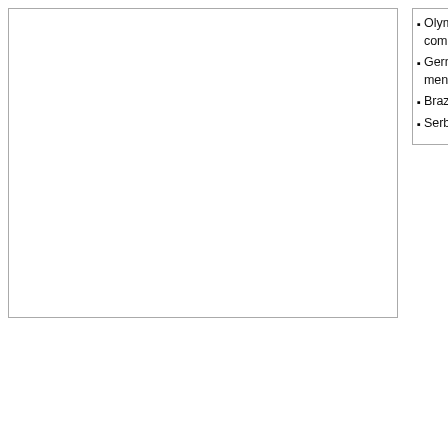[Figure (other): Empty white rectangle with border on the left side of the page]
Olym... comple...
Germ... men's...
Brazi...
Serbi...